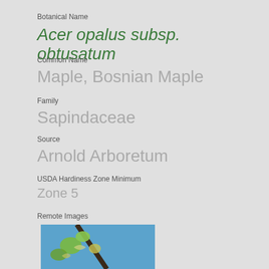Botanical Name
Acer opalus subsp. obtusatum
Common Name
Maple, Bosnian Maple
Family
Sapindaceae
Source
Arnold Arboretum
USDA Hardiness Zone Minimum
Zone 5
Remote Images
[Figure (photo): Close-up photo of Acer opalus subsp. obtusatum flowers/seeds on a branch against a blue sky]